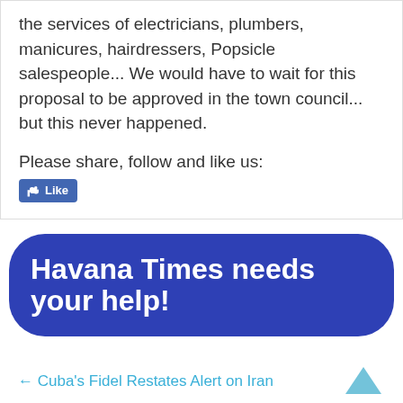the services of electricians, plumbers, manicures, hairdressers, Popsicle salespeople... We would have to wait for this proposal to be approved in the town council... but this never happened.
Please share, follow and like us:
[Figure (screenshot): Facebook Like button]
[Figure (infographic): Dark blue rounded banner reading: Havana Times needs your help!]
← Cuba's Fidel Restates Alert on Iran